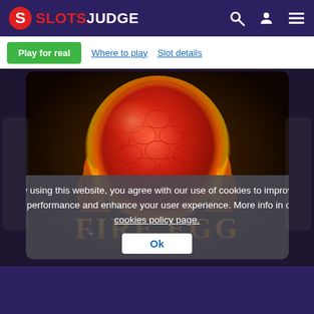SLOTSJUDGE
Play for real | Where to play | Slot details
[Figure (screenshot): Fire Egg slot game promotional image showing a large dragon egg surrounded by fire and flames with 'FIRE EGG' text in golden metallic letters at the bottom]
By using this website, you agree with our use of cookies to improve its performance and enhance your user experience. More info in our cookies policy page.
Ok